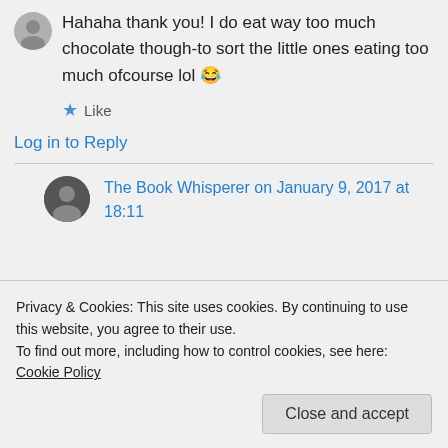Hahaha thank you! I do eat way too much chocolate though-to sort the little ones eating too much ofcourse lol 😂
★ Like
Log in to Reply
The Book Whisperer on January 9, 2017 at 18:11
Privacy & Cookies: This site uses cookies. By continuing to use this website, you agree to their use.
To find out more, including how to control cookies, see here: Cookie Policy
Close and accept